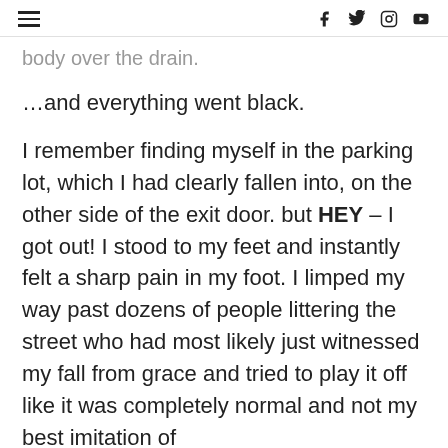≡  f  𝕩  ⊙  ▶
body over the drain.
…and everything went black.
I remember finding myself in the parking lot, which I had clearly fallen into, on the other side of the exit door. but HEY – I got out! I stood to my feet and instantly felt a sharp pain in my foot. I limped my way past dozens of people littering the street who had most likely just witnessed my fall from grace and tried to play it off like it was completely normal and not my best imitation of